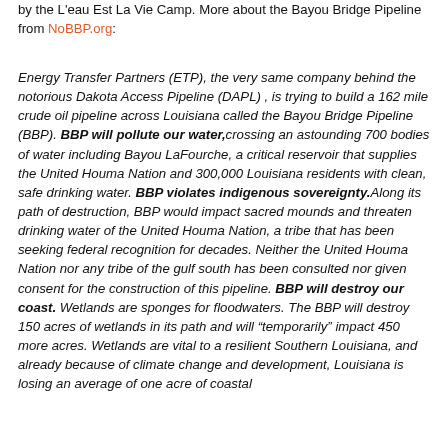by the L'eau Est La Vie Camp. More about the Bayou Bridge Pipeline from NoBBP.org:
Energy Transfer Partners (ETP), the very same company behind the notorious Dakota Access Pipeline (DAPL) , is trying to build a 162 mile crude oil pipeline across Louisiana called the Bayou Bridge Pipeline (BBP). BBP will pollute our water, crossing an astounding 700 bodies of water including Bayou LaFourche, a critical reservoir that supplies the United Houma Nation and 300,000 Louisiana residents with clean, safe drinking water. BBP violates indigenous sovereignty. Along its path of destruction, BBP would impact sacred mounds and threaten drinking water of the United Houma Nation, a tribe that has been seeking federal recognition for decades. Neither the United Houma Nation nor any tribe of the gulf south has been consulted nor given consent for the construction of this pipeline. BBP will destroy our coast. Wetlands are sponges for floodwaters. The BBP will destroy 150 acres of wetlands in its path and will "temporarily" impact 450 more acres. Wetlands are vital to a resilient Southern Louisiana, and already because of climate change and development, Louisiana is losing an average of one acre of coastal